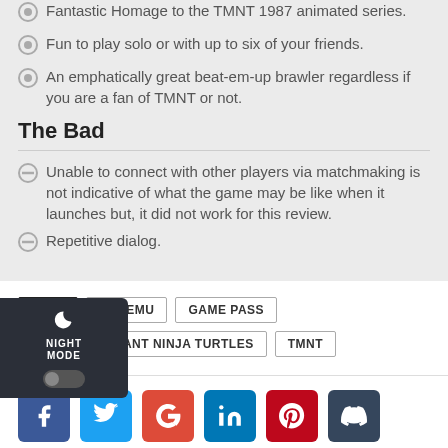Fantastic Homage to the TMNT 1987 animated series.
Fun to play solo or with up to six of your friends.
An emphatically great beat-em-up brawler regardless if you are a fan of TMNT or not.
The Bad
Unable to connect with other players via matchmaking is not indicative of what the game may be like when it launches but, it did not work for this review.
Repetitive dialog.
TAGS  DOTEMU  GAME PASS  TEENAGE MUTANT NINJA TURTLES  TMNT